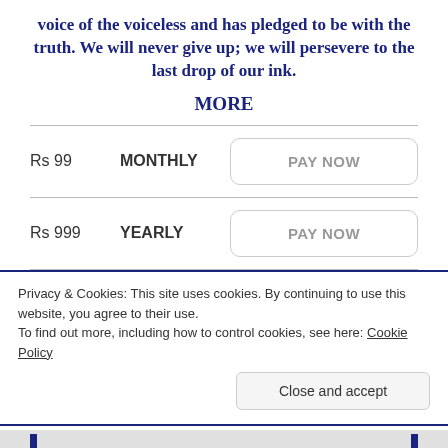voice of the voiceless and has pledged to be with the truth. We will never give up; we will persevere to the last drop of our ink.
MORE
| Amount | Period | Action |
| --- | --- | --- |
| Rs 99 | MONTHLY | PAY NOW |
| Rs 999 | YEARLY | PAY NOW |
| Rs 10000 | LIFETIME | PAY NOW |
Privacy & Cookies: This site uses cookies. By continuing to use this website, you agree to their use.
To find out more, including how to control cookies, see here: Cookie Policy
Close and accept